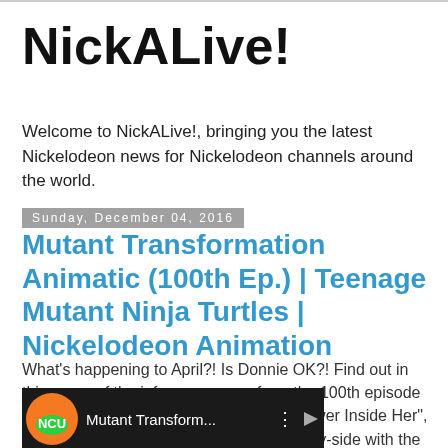NickALive!
Welcome to NickALive!, bringing you the latest Nickelodeon news for Nickelodeon channels around the world.
Sunday, December 04, 2016
Mutant Transformation Animatic (100th Ep.) | Teenage Mutant Ninja Turtles | Nickelodeon Animation
What's happening to April?! Is Donnie OK?! Find out in this recap of the infamous scene from the 100th episode of Teenage Mutant Ninja Turtles, "The Power Inside Her", now with a behind-the-scenes view side-by-side with the original storyboard animatic!:
[Figure (screenshot): Video thumbnail showing 'Mutant Transform...' with a colorful logo on dark background]